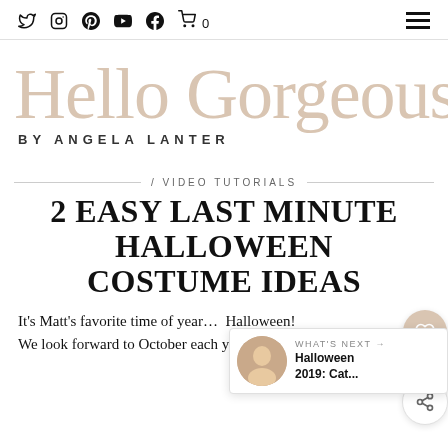Social icons: Twitter, Instagram, Pinterest, YouTube, Facebook, Cart (0) | Hamburger menu
[Figure (logo): Hello Gorgeous by Angela Lanter blog logo — large serif text in beige/tan color with 'BY ANGELA LANTER' subtitle in small caps]
/ VIDEO TUTORIALS
2 EASY LAST MINUTE HALLOWEEN COSTUME IDEAS
It's Matt's favorite time of year… Halloween! We look forward to October each year because